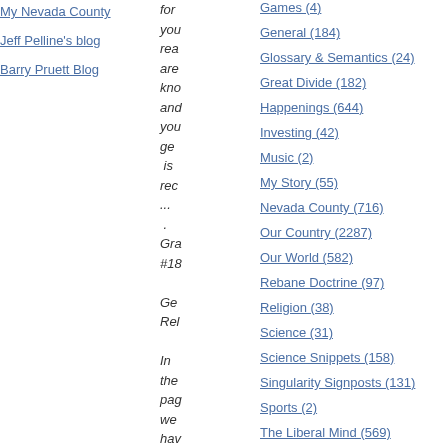My Nevada County
Jeff Pelline's blog
Barry Pruett Blog
for you rea are kno and you ge is rec ... . Gra #18 Ge Rel In the pag we hav sou
Games (4)
General (184)
Glossary & Semantics (24)
Great Divide (182)
Happenings (644)
Investing (42)
Music (2)
My Story (55)
Nevada County (716)
Our Country (2287)
Our World (582)
Rebane Doctrine (97)
Religion (38)
Science (31)
Science Snippets (158)
Singularity Signposts (131)
Sports (2)
The Liberal Mind (569)